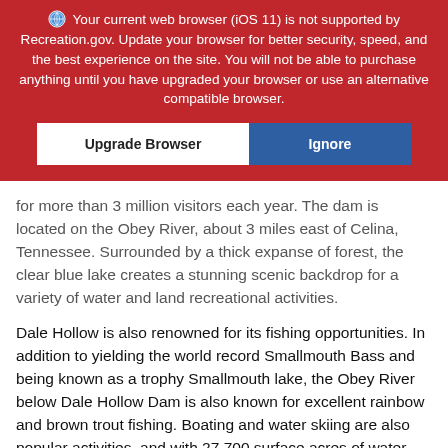🌐 Your current web browser (iOS 11) is not supported by Recreation.gov. Update your browser for better security, speed, and the best experience on the site. You will not be able to purchase anything until you have upgraded your browser or use an alternative compatible browser.
[Figure (screenshot): Two buttons: 'Upgrade Browser' (white background) and 'Ignore' (blue background)]
for more than 3 million visitors each year. The dam is located on the Obey River, about 3 miles east of Celina, Tennessee. Surrounded by a thick expanse of forest, the clear blue lake creates a stunning scenic backdrop for a variety of water and land recreational activities.
Dale Hollow is also renowned for its fishing opportunities. In addition to yielding the world record Smallmouth Bass and being known as a trophy Smallmouth lake, the Obey River below Dale Hollow Dam is also known for excellent rainbow and brown trout fishing. Boating and water skiing are also popular activities, and with 27,700 surface acres of water and 620 miles of shoreline, there is plenty of space for campers to explore the lake. Secluded